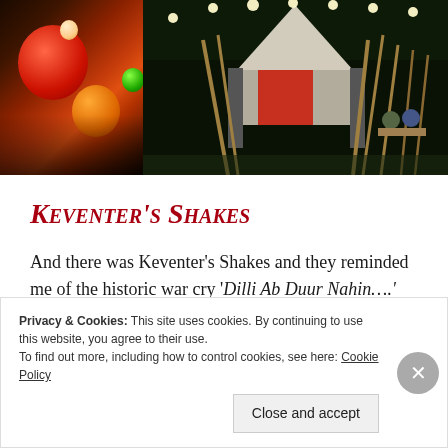[Figure (photo): Two night festival photos side by side: left shows colorful hanging paper lanterns (red, orange, green) at a night market; right shows a festive outdoor event with a white tent, string lights, red banners, wooden poles and people seated at tables at night.]
Keventer's Shakes
And there was Keventer's Shakes and they reminded me of the historic war cry 'Dilli Ab Duur Nahin….'
Privacy & Cookies: This site uses cookies. By continuing to use this website, you agree to their use.
To find out more, including how to control cookies, see here: Cookie Policy
Close and accept